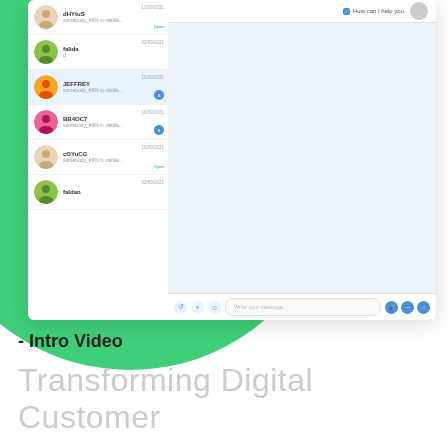[Figure (screenshot): A chat/messaging application interface screenshot showing a contact list on the left with user avatars and names, and a chat window on the right with a light blue background. The chat window shows a support message 'How can I help you' at the top right, and an input bar at the bottom with placeholder text 'Write your message...' and various action icons.]
- Intro Video
Transforming Digital  Customer